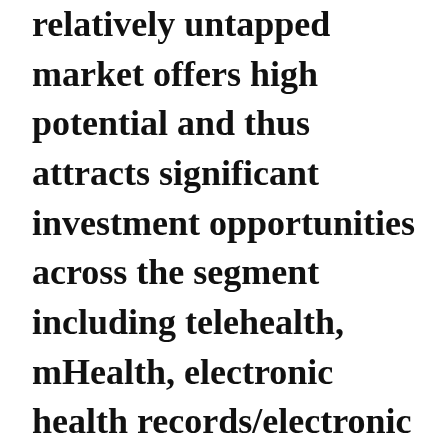relatively untapped market offers high potential and thus attracts significant investment opportunities across the segment including telehealth, mHealth, electronic health records/electronic medical records (EHR/EMR), and others. The panel with key members from India-US businesses will